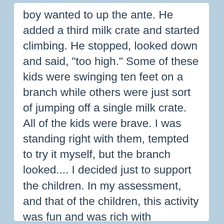boy wanted to up the ante. He added a third milk crate and started climbing. He stopped, looked down and said, "too high." Some of these kids were swinging ten feet on a branch while others were just sort of jumping off a single milk crate. All of the kids were brave. I was standing right with them, tempted to try it myself, but the branch looked.... I decided just to support the children. In my assessment, and that of the children, this activity was fun and was rich with curriculum expectations. Most importantly, it was authentic play; intrinsically motivated by the children. The only object I (the educator) had provided was a rake. The activity took off because of the children and continued because of